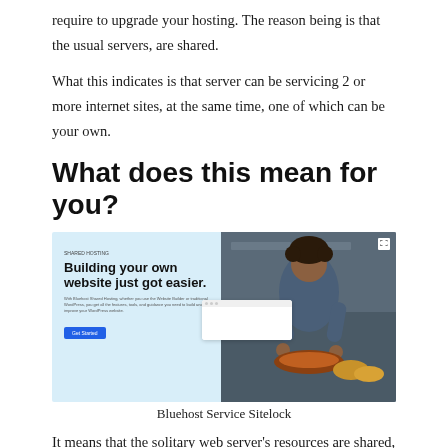require to upgrade your hosting. The reason being is that the usual servers, are shared.
What this indicates is that server can be servicing 2 or more internet sites, at the same time, one of which can be your own.
What does this mean for you?
[Figure (screenshot): Bluehost website screenshot showing 'Building your own website just got easier.' with a chef preparing food in the background and a browser window overlay. Blue background on the left with text and a Get Started button.]
Bluehost Service Sitelock
It means that the solitary web server’s resources are shared, and also it is doing several jobs at any provided time. When your site begins to strike 100,000 site gos to every month, you are going to